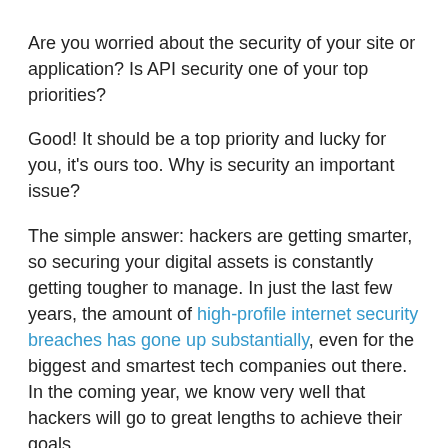Are you worried about the security of your site or application? Is API security one of your top priorities?
Good! It should be a top priority and lucky for you, it's ours too. Why is security an important issue?
The simple answer: hackers are getting smarter, so securing your digital assets is constantly getting tougher to manage. In just the last few years, the amount of high-profile internet security breaches has gone up substantially, even for the biggest and smartest tech companies out there. In the coming year, we know very well that hackers will go to great lengths to achieve their goals.
API security is a growing threat to WordPress and Drupal.
When you use API keys, you need to take great care and implement best practices in order to safely secure them.
Let's dig into why you need a stronger security system,